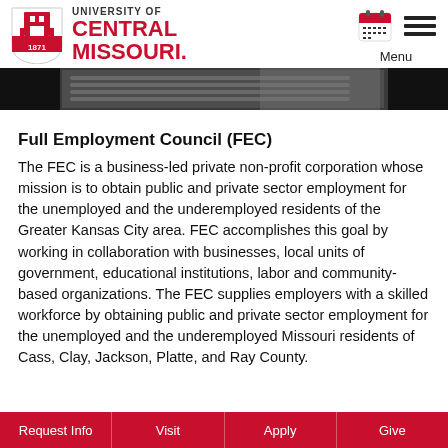University of Central Missouri
[Figure (photo): A person's hands typing on a laptop keyboard, dark background, partial view.]
Full Employment Council (FEC)
The FEC is a business-led private non-profit corporation whose mission is to obtain public and private sector employment for the unemployed and the underemployed residents of the Greater Kansas City area. FEC accomplishes this goal by working in collaboration with businesses, local units of government, educational institutions, labor and community-based organizations. The FEC supplies employers with a skilled workforce by obtaining public and private sector employment for the unemployed and the underemployed Missouri residents of Cass, Clay, Jackson, Platte, and Ray County.
Request Info | Visit | Apply | Give